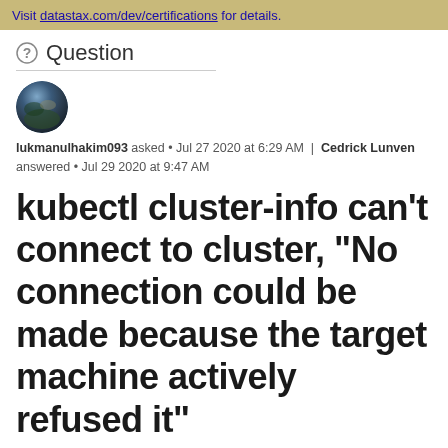Visit datastax.com/dev/certifications for details.
Question
[Figure (photo): Circular avatar photo of the question author, showing a landscape scene with mountains and sky.]
lukmanulhakim093 asked • Jul 27 2020 at 6:29 AM | Cedrick Lunven answered • Jul 29 2020 at 9:47 AM
kubectl cluster-info can't connect to cluster, "No connection could be made because the target machine actively refused it"
Hi,